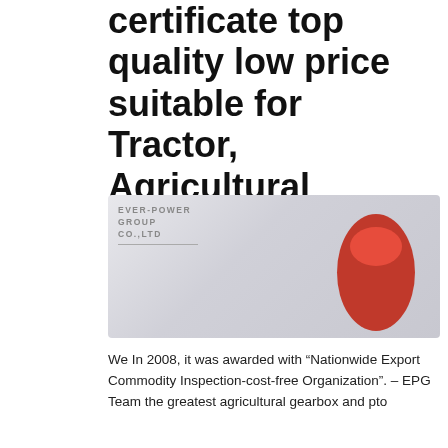certificate top quality low price suitable for Tractor, Agricultural machines, right angle pto shaft drive
[Figure (photo): Ever-Power Group Co.,Ltd advertisement banner showing various agricultural gear and mechanical components in a grid layout, with two large red gearbox/gear products prominently displayed on the left. Bottom bar shows contact info: Mobile/WhatsApp/Wechat/Telegram/Line/Viber/Kakao Talk: +86-13083988828, E-mail/Skype: hzptcorp@gmail.com]
We In 2008, it was awarded with “Nationwide Export Commodity Inspection-cost-free Organization”. – EPG Team the greatest agricultural gearbox and pto